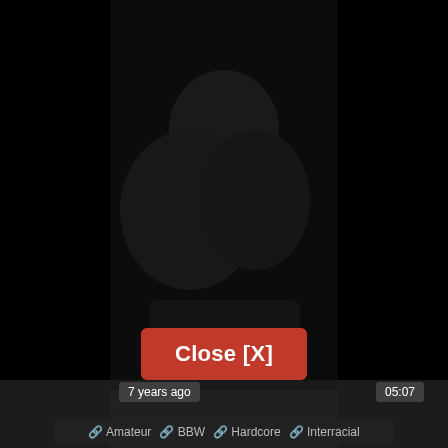[Figure (screenshot): Dark video player UI with a blurred/dark video thumbnail occupying most of the screen background]
Close [X]
7 years ago
05:07
Amateur  BBW  Hardcore  Interracial